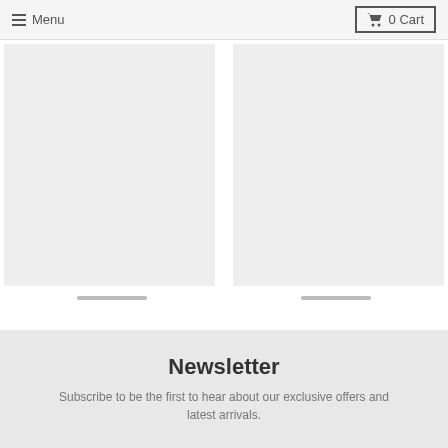Menu  0 Cart
[Figure (other): Two product placeholder image cards side by side with light gray backgrounds]
Newsletter
Subscribe to be the first to hear about our exclusive offers and latest arrivals.